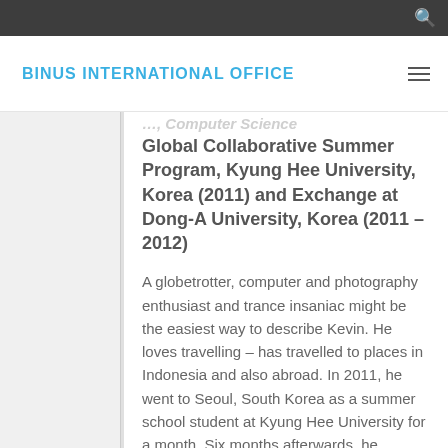BINUS INTERNATIONAL OFFICE
Global Collaborative Summer Program, Kyung Hee University, Korea (2011) and Exchange at Dong-A University, Korea (2011 – 2012)
A globetrotter, computer and photography enthusiast and trance insaniac might be the easiest way to describe Kevin. He loves travelling – has travelled to places in Indonesia and also abroad. In 2011, he went to Seoul, South Korea as a summer school student at Kyung Hee University for a month. Six months afterwards, he received GKS scholarship from the Korean government as an exchange student at Dong-A University for a year.